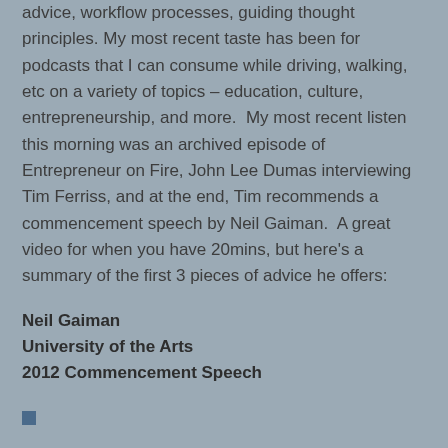advice, workflow processes, guiding thought principles. My most recent taste has been for podcasts that I can consume while driving, walking, etc on a variety of topics – education, culture, entrepreneurship, and more.  My most recent listen this morning was an archived episode of Entrepreneur on Fire, John Lee Dumas interviewing Tim Ferriss, and at the end, Tim recommends a commencement speech by Neil Gaiman.  A great video for when you have 20mins, but here's a summary of the first 3 pieces of advice he offers:
Neil Gaiman
University of the Arts
2012 Commencement Speech